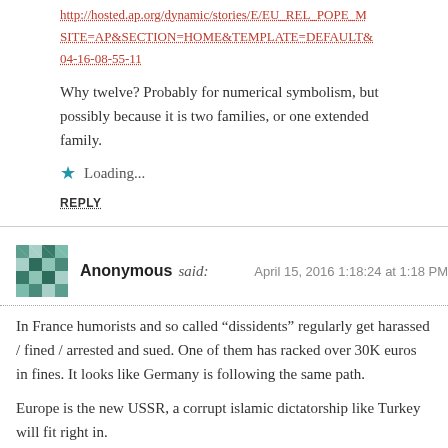http://hosted.ap.org/dynamic/stories/E/EU_REL_POPE_M SITE=AP&SECTION=HOME&TEMPLATE=DEFAULT& 04-16-08-55-11
Why twelve? Probably for numerical symbolism, but possibly because it is two families, or one extended family.
Loading...
REPLY
Anonymous said:
April 15, 2016 1:18:24 at 1:18 PM
In France humorists and so called “dissidents” regularly get harassed / fined / arrested and sued. One of them has racked over 30K euros in fines. It looks like Germany is following the same path.
Europe is the new USSR, a corrupt islamic dictatorship like Turkey will fit right in.
Loading...